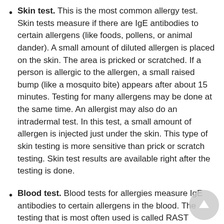Skin test. This is the most common allergy test. Skin tests measure if there are IgE antibodies to certain allergens (like foods, pollens, or animal dander). A small amount of diluted allergen is placed on the skin. The area is pricked or scratched. If a person is allergic to the allergen, a small raised bump (like a mosquito bite) appears after about 15 minutes. Testing for many allergens may be done at the same time. An allergist may also do an intradermal test. In this test, a small amount of allergen is injected just under the skin. This type of skin testing is more sensitive than prick or scratch testing. Skin test results are available right after the testing is done.
Blood test. Blood tests for allergies measure IgE antibodies to certain allergens in the blood. The testing that is most often used is called RAST (radioallergosorbent test). Blood tests may be used